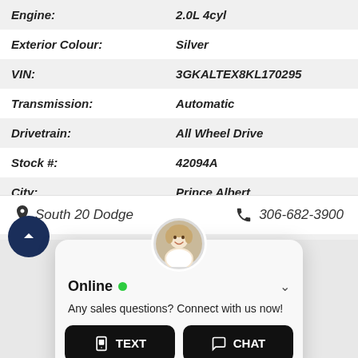| Field | Value |
| --- | --- |
| Engine: | 2.0L 4cyl |
| Exterior Colour: | Silver |
| VIN: | 3GKALTEX8KL170295 |
| Transmission: | Automatic |
| Drivetrain: | All Wheel Drive |
| Stock #: | 42094A |
| City: | Prince Albert |
South 20 Dodge   306-682-3900
[Figure (screenshot): Online chat widget with avatar photo, Online status indicator (green dot), message 'Any sales questions? Connect with us now!', and two buttons: TEXT and CHAT]